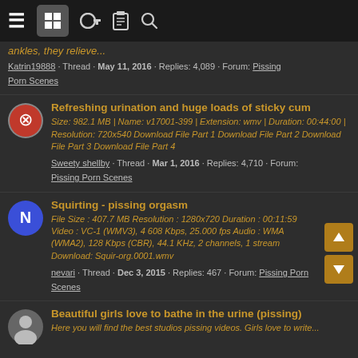Navigation bar with menu, grid, key, list, and search icons
ankles, they relieve...
Katrin19888 · Thread · May 11, 2016 · Replies: 4,089 · Forum: Pissing Porn Scenes
Refreshing urination and huge loads of sticky cum
Size: 982.1 MB | Name: v17001-399 | Extension: wmv | Duration: 00:44:00 | Resolution: 720x540 Download File Part 1 Download File Part 2 Download File Part 3 Download File Part 4
Sweety shellby · Thread · Mar 1, 2016 · Replies: 4,710 · Forum: Pissing Porn Scenes
Squirting - pissing orgasm
File Size : 407.7 MB Resolution : 1280x720 Duration : 00:11:59 Video : VC-1 (WMV3), 4 608 Kbps, 25.000 fps Audio : WMA (WMA2), 128 Kbps (CBR), 44.1 KHz, 2 channels, 1 stream Download: Squir-org.0001.wmv
nevari · Thread · Dec 3, 2015 · Replies: 467 · Forum: Pissing Porn Scenes
Beautiful girls love to bathe in the urine (pissing)
Here you will find the best studios pissing videos. Girls love to write...